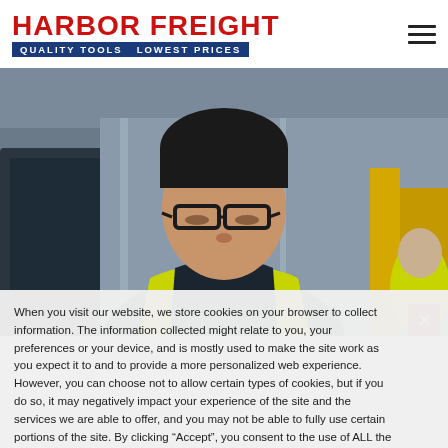[Figure (logo): Harbor Freight Tools logo with red text 'HARBOR FREIGHT' and blue banner 'QUALITY TOOLS  LOWEST PRICES']
[Figure (photo): Worker wearing glasses and yellow safety vest looking down, warehouse setting, another worker in background]
When you visit our website, we store cookies on your browser to collect information. The information collected might relate to you, your preferences or your device, and is mostly used to make the site work as you expect it to and to provide a more personalized web experience. However, you can choose not to allow certain types of cookies, but if you do so, it may negatively impact your experience of the site and the services we are able to offer, and you may not be able to fully use certain portions of the site. By clicking “Accept”, you consent to the use of ALL the cookies. However you may visit Cookie Settings to provide a controlled consent.
Cookie settings
ACCEPT